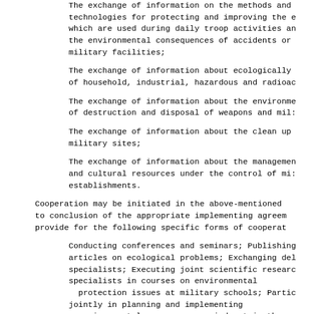The exchange of information on the methods and technologies for protecting and improving the environment which are used during daily troop activities and to reduce the environmental consequences of accidents or disasters at military facilities;
The exchange of information about ecologically sound disposal of household, industrial, hazardous and radioactive waste;
The exchange of information about the environmental aspects of destruction and disposal of weapons and military equipment;
The exchange of information about the clean up of contaminated military sites;
The exchange of information about the management of natural and cultural resources under the control of military establishments.
Cooperation may be initiated in the above-mentioned areas, subject to conclusion of the appropriate implementing agreements, which may provide for the following specific forms of cooperation:
Conducting conferences and seminars; Publishing books and articles on ecological problems; Exchanging delegations of specialists; Executing joint scientific research; Training specialists in courses on environmental protection issues at military schools; Participating jointly in planning and implementing environmental measures, carried out in the process of troop activities and in emergency situations;